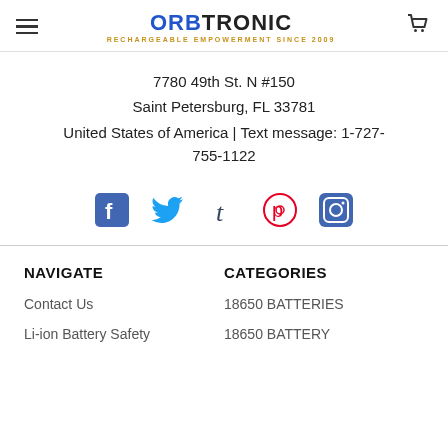ORBTRONIC — RECHARGEABLE EMPOWERMENT SINCE 2009
7780 49th St. N #150
Saint Petersburg, FL 33781
United States of America | Text message: 1-727-755-1122
[Figure (illustration): Social media icons: Facebook, Twitter, Tumblr, Pinterest, Instagram]
NAVIGATE
CATEGORIES
Contact Us
18650 BATTERIES
Li-ion Battery Safety
18650 BATTERY